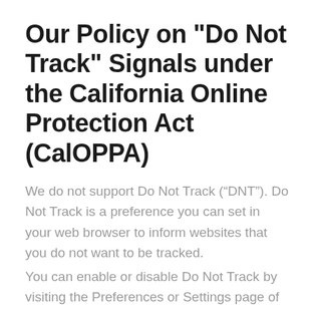Our Policy on "Do Not Track" Signals under the California Online Protection Act (CalOPPA)
We do not support Do Not Track (“DNT”). Do Not Track is a preference you can set in your web browser to inform websites that you do not want to be tracked.
You can enable or disable Do Not Track by visiting the Preferences or Settings page of